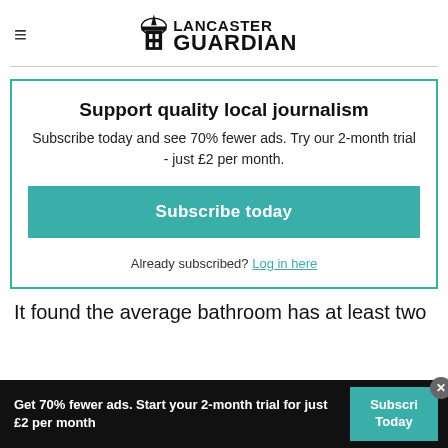Lancaster Guardian
Support quality local journalism
Subscribe today and see 70% fewer ads. Try our 2-month trial - just £2 per month.
Subscribe today
Already subscribed? Log in here
It found the average bathroom has at least two
Get 70% fewer ads. Start your 2-month trial for just £2 per month
Subscribe Today